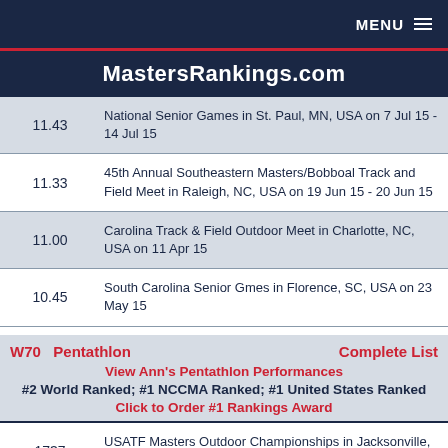MENU
MastersRankings.com
| Score | Event |
| --- | --- |
| 11.43 | National Senior Games in St. Paul, MN, USA on 7 Jul 15 - 14 Jul 15 |
| 11.33 | 45th Annual Southeastern Masters/Bobboal Track and Field Meet in Raleigh, NC, USA on 19 Jun 15 - 20 Jun 15 |
| 11.00 | Carolina Track & Field Outdoor Meet in Charlotte, NC, USA on 11 Apr 15 |
| 10.45 | South Carolina Senior Gmes in Florence, SC, USA on 23 May 15 |
W70  Pentathlon  Complete List
View Ann's Pentathlon Performances
#2 World Ranked; #1 NCCMA Ranked; #1 United States Ranked
Click to Order #1 Rankings Award
| Score | Event |
| --- | --- |
| 1737 | USATF Masters Outdoor Championships in Jacksonville, FL, USA on 23 Jul 15 - 26 Jul 15 |